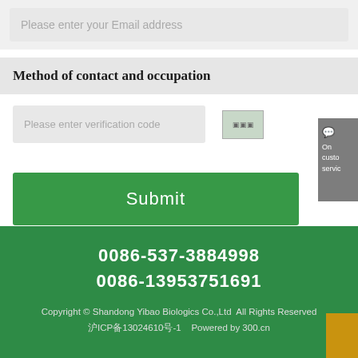Please enter your Email address
Method of contact and occupation
Please enter verification code
On
custo
servic
Submit
0086-537-3884998
0086-13953751691
Copyright © Shandong Yibao Biologics Co.,Ltd  All Rights Reserved
沪ICP备13024610号-1    Powered by 300.cn